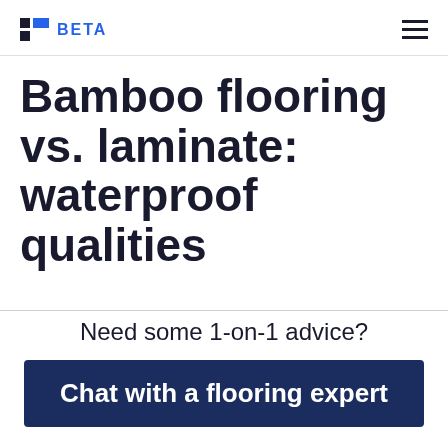BETA
Bamboo flooring vs. laminate: waterproof qualities
Need some 1-on-1 advice?
Chat with a flooring expert